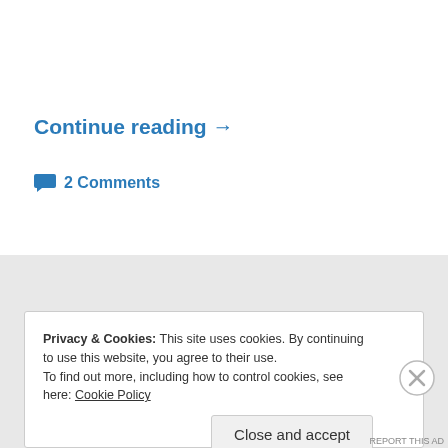Continue reading →
2 Comments
Privacy & Cookies: This site uses cookies. By continuing to use this website, you agree to their use. To find out more, including how to control cookies, see here: Cookie Policy
Close and accept
REPORT THIS AD